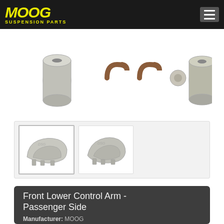MOOG SUSPENSION PARTS
[Figure (photo): Product photo showing suspension parts components including two cylindrical bushings, C-shaped clips, and a small ball joint piece on white background]
[Figure (photo): Thumbnail image 1: Front lower control arm part, metallic silver, viewed from front angle with watermark]
[Figure (photo): Thumbnail image 2: Front lower control arm part, metallic silver, viewed from slightly different angle with watermark]
Front Lower Control Arm - Passenger Side
Manufacturer: MOOG
Part Number: moog-rk80732